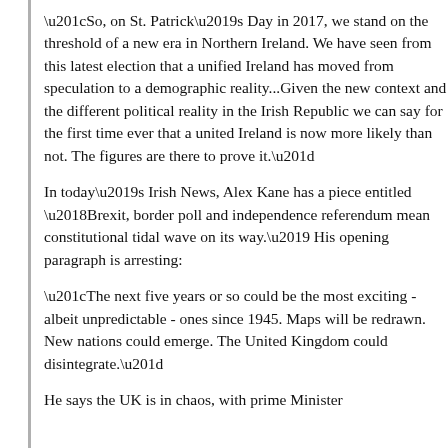“So, on St. Patrick’s Day in 2017, we stand on the threshold of a new era in Northern Ireland. We have seen from this latest election that a unified Ireland has moved from speculation to a demographic reality...Given the new context and the different political reality in the Irish Republic we can say for the first time ever that a united Ireland is now more likely than not. The figures are there to prove it.”
In today’s Irish News, Alex Kane has a piece entitled ‘Brexit, border poll and independence referendum mean constitutional tidal wave on its way.’ His opening paragraph is arresting:
“The next five years or so could be the most exciting - albeit unpredictable - ones since 1945. Maps will be redrawn. New nations could emerge. The United Kingdom could disintegrate.”
He says the UK is in chaos, with prime Minister